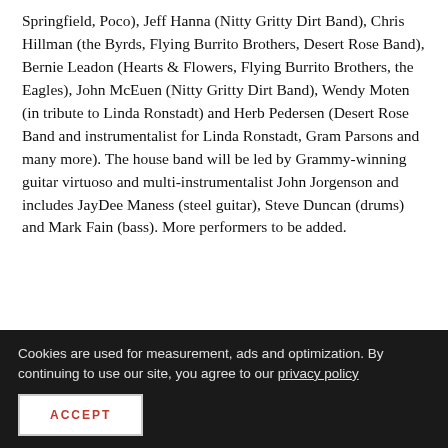Springfield, Poco), Jeff Hanna (Nitty Gritty Dirt Band), Chris Hillman (the Byrds, Flying Burrito Brothers, Desert Rose Band), Bernie Leadon (Hearts & Flowers, Flying Burrito Brothers, the Eagles), John McEuen (Nitty Gritty Dirt Band), Wendy Moten (in tribute to Linda Ronstadt) and Herb Pedersen (Desert Rose Band and instrumentalist for Linda Ronstadt, Gram Parsons and many more). The house band will be led by Grammy-winning guitar virtuoso and multi-instrumentalist John Jorgenson and includes JayDee Maness (steel guitar), Steve Duncan (drums) and Mark Fain (bass). More performers to be added.
Desert Rose Band – Sunday, Oct. 2, at 7 p.m.
Cookies are used for measurement, ads and optimization. By continuing to use our site, you agree to our privacy policy